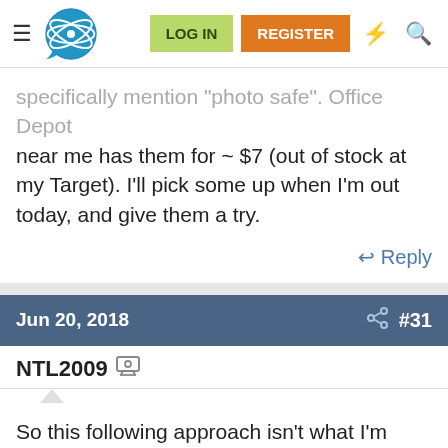LOG IN  REGISTER
specifically mention "photo safe". Office Depot near me has them for ~ $7 (out of stock at my Target). I'll pick some up when I'm out today, and give them a try.
Reply
Jun 20, 2018  #31
NTL2009
So this following approach isn't what I'm looking for right now, but maybe in the future if I'm already ordering a PC Board, so I thought I'd post it for others to see. Basically, when